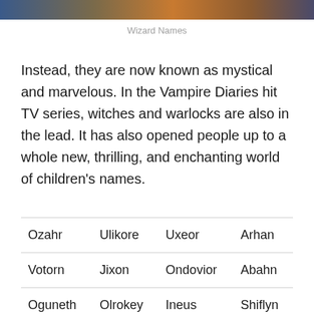[Figure (photo): Decorative image strip at top of page showing a warm orange and blue fantasy/mystical scene]
Wizard Names
Instead, they are now known as mystical and marvelous. In the Vampire Diaries hit TV series, witches and warlocks are also in the lead. It has also opened people up to a whole new, thrilling, and enchanting world of children’s names.
| Ozahr | Ulikore | Uxeor | Arhan |
| Votorn | Jixon | Ondovior | Abahn |
| Oguneth | Olrokey | Ineus | Shiflyn |